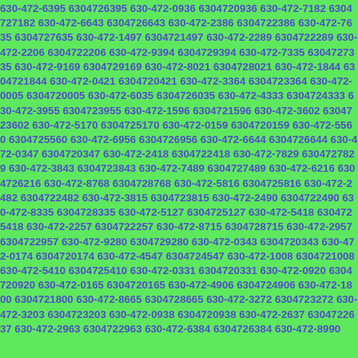630-472-6395 6304726395 630-472-0936 6304720936 630-472-7182 6304727182 630-472-6643 6304726643 630-472-2386 6304722386 630-472-7635 6304727635 630-472-1497 6304721497 630-472-2289 6304722289 630-472-2206 6304722206 630-472-9394 6304729394 630-472-7335 6304727335 630-472-9169 6304729169 630-472-8021 6304728021 630-472-1844 6304721844 630-472-0421 6304720421 630-472-3364 6304723364 630-472-0005 6304720005 630-472-6035 6304726035 630-472-4333 6304724333 630-472-3955 6304723955 630-472-1596 6304721596 630-472-3602 6304723602 630-472-5170 6304725170 630-472-0159 6304720159 630-472-5560 6304725560 630-472-6956 6304726956 630-472-6644 6304726644 630-472-0347 6304720347 630-472-2418 6304722418 630-472-7829 6304727829 630-472-3843 6304723843 630-472-7489 6304727489 630-472-6216 6304726216 630-472-8768 6304728768 630-472-5816 6304725816 630-472-2482 6304722482 630-472-3815 6304723815 630-472-2490 6304722490 630-472-8335 6304728335 630-472-5127 6304725127 630-472-5418 6304725418 630-472-2257 6304722257 630-472-8715 6304728715 630-472-2957 6304722957 630-472-9280 6304729280 630-472-0343 6304720343 630-472-0174 6304720174 630-472-4547 6304724547 630-472-1008 6304721008 630-472-5410 6304725410 630-472-0331 6304720331 630-472-0920 6304720920 630-472-0165 6304720165 630-472-4906 6304724906 630-472-1800 6304721800 630-472-8665 6304728665 630-472-3272 6304723272 630-472-3203 6304723203 630-472-0938 6304720938 630-472-2637 6304722637 630-472-2963 6304722963 630-472-6384 6304726384 630-472-8990